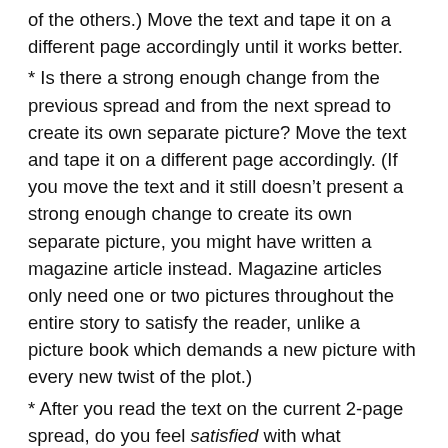of the others.) Move the text and tape it on a different page accordingly until it works better.
* Is there a strong enough change from the previous spread and from the next spread to create its own separate picture? Move the text and tape it on a different page accordingly. (If you move the text and it still doesn’t present a strong enough change to create its own separate picture, you might have written a magazine article instead. Magazine articles only need one or two pictures throughout the entire story to satisfy the reader, unlike a picture book which demands a new picture with every new twist of the plot.)
* After you read the text on the current 2-page spread, do you feel satisfied with what happened on this spread, but itch to turn the page to find out what happens next? (If not, you may have divided up your text in either too small or too large of chunks this spread. Move the text and...